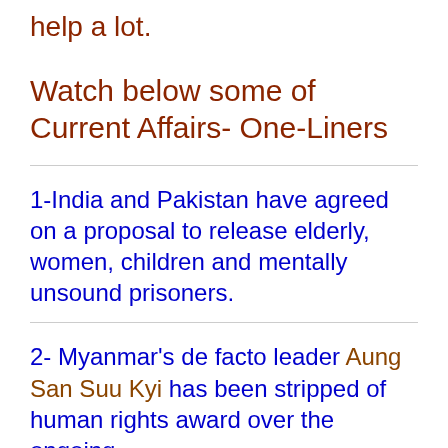help a lot.
Watch below some of Current Affairs- One-Liners
1-India and Pakistan have agreed on a proposal to release elderly, women, children and mentally unsound prisoners.
2- Myanmar's de facto leader Aung San Suu Kyi has been stripped of human rights award over the ongoing